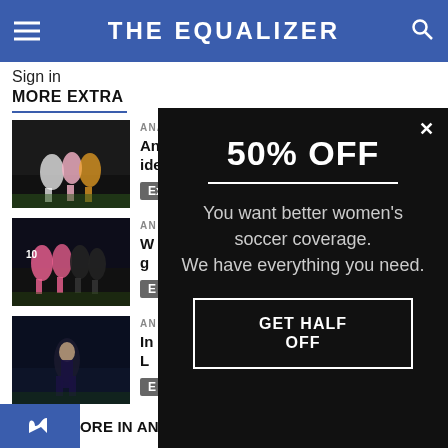THE EQUALIZER
Sign in
MORE EXTRA
[Figure (photo): Soccer players on field at night]
ANALYSIS
Angel City isn't flashy, but a consistent identity could mean playoffs in year one
Extra
[Figure (photo): Women's soccer team huddle in pink uniforms]
ANALYSIS
W... g...
E
[Figure (photo): Female soccer player in dark uniform at night]
ANALYSIS
In... L...
E
[Figure (infographic): 50% OFF promotional popup - You want better women's soccer coverage. We have everything you need. GET HALF OFF]
ORE IN ANALY